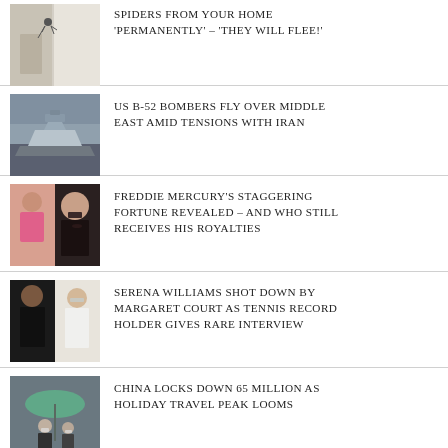SPIDERS FROM YOUR HOME 'PERMANENTLY' – 'THEY WILL FLEE!'
[Figure (photo): Spider on a wall near a door frame]
US B-52 BOMBERS FLY OVER MIDDLE EAST AMID TENSIONS WITH IRAN
[Figure (photo): B-52 bomber aircraft in flight]
FREDDIE MERCURY'S STAGGERING FORTUNE REVEALED – AND WHO STILL RECEIVES HIS ROYALTIES
[Figure (photo): Freddie Mercury performing on stage]
SERENA WILLIAMS SHOT DOWN BY MARGARET COURT AS TENNIS RECORD HOLDER GIVES RARE INTERVIEW
[Figure (photo): Serena Williams and Margaret Court side by side]
CHINA LOCKS DOWN 65 MILLION AS HOLIDAY TRAVEL PEAK LOOMS
[Figure (photo): People with umbrellas and masks in China]